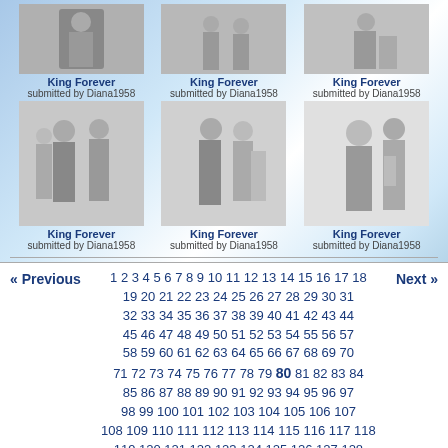[Figure (photo): Three small grayscale photos of people at top row]
King Forever
submitted by Diana1958
King Forever
submitted by Diana1958
King Forever
submitted by Diana1958
[Figure (photo): Three larger grayscale photos of people at middle row]
King Forever
submitted by Diana1958
King Forever
submitted by Diana1958
King Forever
submitted by Diana1958
« Previous  1 2 3 4 5 6 7 8 9 10 11 12 13 14 15 16 17 18 19 20 21 22 23 24 25 26 27 28 29 30 31 32 33 34 35 36 37 38 39 40 41 42 43 44 45 46 47 48 49 50 51 52 53 54 55 56 57 58 59 60 61 62 63 64 65 66 67 68 69 70 71 72 73 74 75 76 77 78 79 80 81 82 83 84 85 86 87 88 89 90 91 92 93 94 95 96 97 98 99 100 101 102 103 104 105 106 107 108 109 110 111 112 113 114 115 116 117 118 119 120 121 122 123 124 125 126 127 128 129 130 131 132 133 134 135 136 137 138 139 140 141 142 143 144 145 146 147 148  Next »